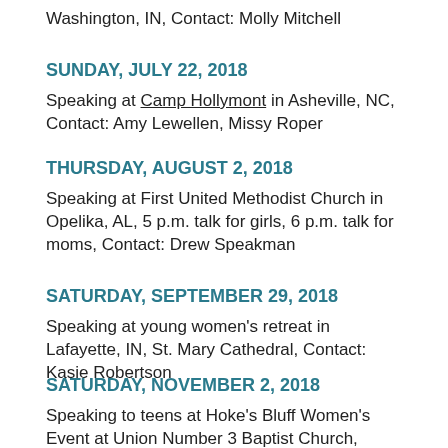Washington, IN, Contact: Molly Mitchell
SUNDAY, JULY 22, 2018
Speaking at Camp Hollymont in Asheville, NC, Contact: Amy Lewellen, Missy Roper
THURSDAY, AUGUST 2, 2018
Speaking at First United Methodist Church in Opelika, AL, 5 p.m. talk for girls, 6 p.m. talk for moms, Contact: Drew Speakman
SATURDAY, SEPTEMBER 29, 2018
Speaking at young women's retreat in Lafayette, IN, St. Mary Cathedral, Contact: Kasie Robertson
SATURDAY, NOVEMBER 2, 2018
Speaking to teens at Hoke's Bluff Women's Event at Union Number 3 Baptist Church, Contact: Carrie Robinson